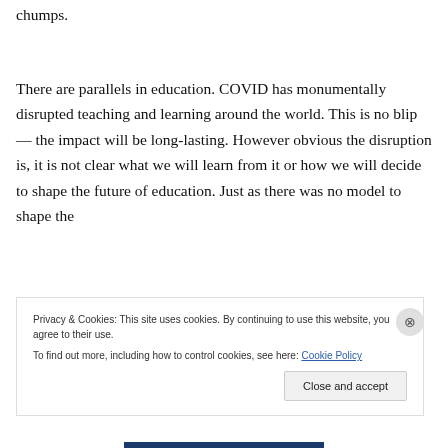chumps.
There are parallels in education. COVID has monumentally disrupted teaching and learning around the world. This is no blip — the impact will be long-lasting. However obvious the disruption is, it is not clear what we will learn from it or how we will decide to shape the future of education. Just as there was no model to shape the
Privacy & Cookies: This site uses cookies. By continuing to use this website, you agree to their use.
To find out more, including how to control cookies, see here: Cookie Policy
Close and accept